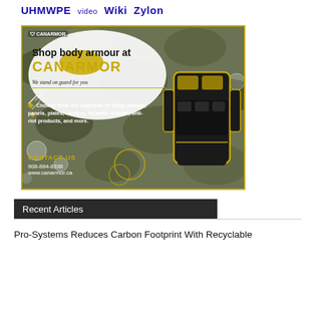UHMWPE  video  Wiki  Zylon
[Figure (illustration): Advertisement for Canarmor body armour. Camouflage background with white blob overlay. Shows text: 'Shop body armour at CANARMOR — We stand on guard for you'. Bullet point: 'Choose from our selection of: body armour, panels, plates, carriers, helmets, shields, anti-riot products, and more.' Contact section: 'CONTACT US — 908-884-8338 — www.canarmor.ca'. Image of a black tactical plate carrier vest.]
Recent Articles
Pro-Systems Reduces Carbon Footprint With Recyclable